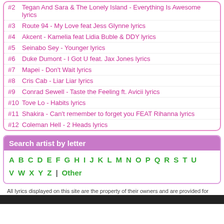#2 Tegan And Sara & The Lonely Island - Everything Is Awesome lyrics
#3 Route 94 - My Love feat Jess Glynne lyrics
#4 Akcent - Kamelia feat Lidia Buble & DDY lyrics
#5 Seinabo Sey - Younger lyrics
#6 Duke Dumont - I Got U feat. Jax Jones lyrics
#7 Mapei - Don't Wait lyrics
#8 Cris Cab - Liar Liar lyrics
#9 Conrad Sewell - Taste the Feeling ft. Avicii lyrics
#10 Tove Lo - Habits lyrics
#11 Shakira - Can't remember to forget you FEAT Rihanna lyrics
#12 Coleman Hell - 2 Heads lyrics
Search artist by letter
A B C D E F G H I J K L M N O P Q R S T U V W X Y Z | Other
All lyrics displayed on this site are the property of their owners and are provided for